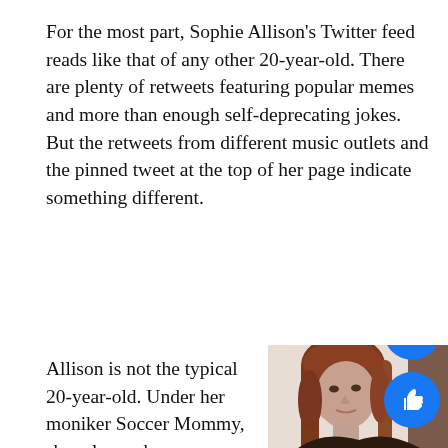For the most part, Sophie Allison's Twitter feed reads like that of any other 20-year-old. There are plenty of retweets featuring popular memes and more than enough self-deprecating jokes. But the retweets from different music outlets and the pinned tweet at the top of her page indicate something different.
Allison is not the typical 20-year-old. Under her moniker Soccer Mommy, she releases her own brand
[Figure (photo): Portrait photo of a young woman with long reddish-brown hair, looking slightly to the side, against a light background. Two blue circular social media buttons (comment and like/thumbs up) overlay the bottom right corner.]